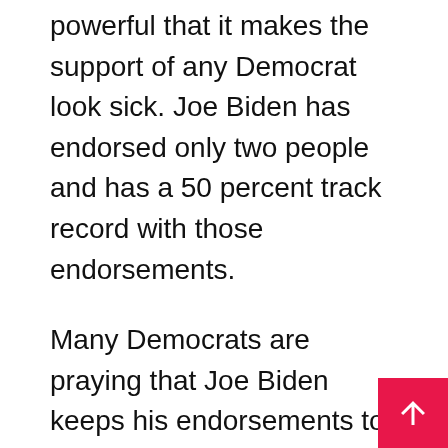powerful that it makes the support of any Democrat look sick. Joe Biden has endorsed only two people and has a 50 percent track record with those endorsements.
Many Democrats are praying that Joe Biden keeps his endorsements to himself because he is not well-liked by Americans. He has put America last and embraced an ideology that puts the world first.
The president has allowed the world to take advantage of the United States, unfavorable to the people. The media will never report that hatred exists for how the current